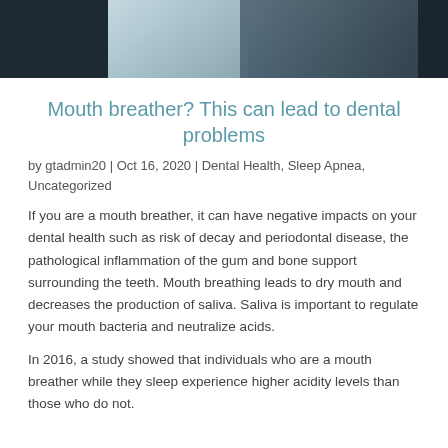[Figure (photo): A person sleeping or resting, shown from the shoulders up, with dark and light tones suggesting nighttime or sleep setting.]
Mouth breather? This can lead to dental problems
by gtadmin20 | Oct 16, 2020 | Dental Health, Sleep Apnea, Uncategorized
If you are a mouth breather, it can have negative impacts on your dental health such as risk of decay and periodontal disease, the pathological inflammation of the gum and bone support surrounding the teeth. Mouth breathing leads to dry mouth and decreases the production of saliva. Saliva is important to regulate your mouth bacteria and neutralize acids.
In 2016, a study showed that individuals who are a mouth breather while they sleep experience higher acidity levels than those who do not.